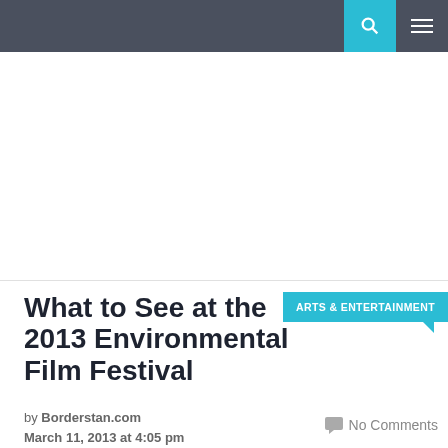Navigation bar with search and menu icons
[Figure (other): White advertisement/banner placeholder area]
What to See at the 2013 Environmental Film Festival
ARTS & ENTERTAINMENT
by Borderstan.com
March 11, 2013 at 4:05 pm
No Comments
From Laetitia Brock. Email her at laetitia[AT]borderstan.com. You can follow her at @FrenchTwistDC and on her own blog, French twist...